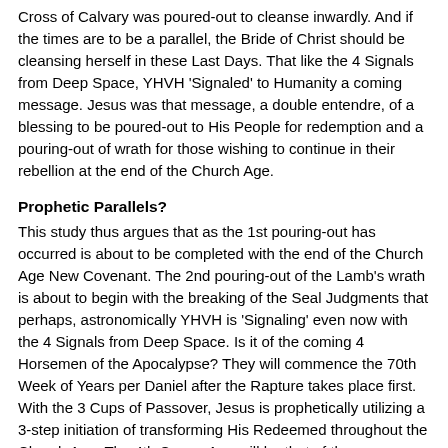Cross of Calvary was poured-out to cleanse inwardly. And if the times are to be a parallel, the Bride of Christ should be cleansing herself in these Last Days. That like the 4 Signals from Deep Space, YHVH 'Signaled' to Humanity a coming message. Jesus was that message, a double entendre, of a blessing to be poured-out to His People for redemption and a pouring-out of wrath for those wishing to continue in their rebellion at the end of the Church Age.
Prophetic Parallels?
This study thus argues that as the 1st pouring-out has occurred is about to be completed with the end of the Church Age New Covenant. The 2nd pouring-out of the Lamb's wrath is about to begin with the breaking of the Seal Judgments that perhaps, astronomically YHVH is 'Signaling' even now with the 4 Signals from Deep Space. Is it of the coming 4 Horsemen of the Apocalypse? They will commence the 70th Week of Years per Daniel after the Rapture takes place first. With the 3 Cups of Passover, Jesus is prophetically utilizing a 3-step initiation of transforming His Redeemed throughout the Church Age. The 4th Cup or Age will be that of the Glorification. This time corresponds to the Millennial Kingdom to come. Sadly, Lucifer is also using a counterfeit 3-step transition of Humanity presently. It is based on the Hegelian Dialectic of Problem, Reaction Solution.